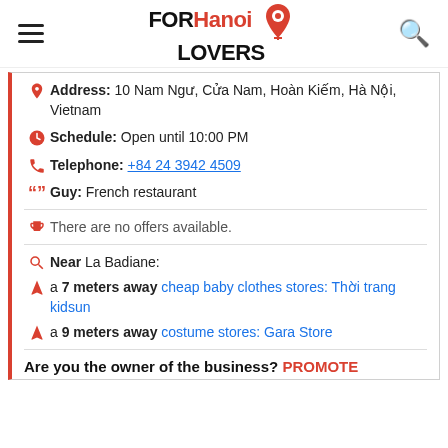FOR Hanoi LOVERS
Address: 10 Nam Ngư, Cửa Nam, Hoàn Kiếm, Hà Nội, Vietnam
Schedule: Open until 10:00 PM
Telephone: +84 24 3942 4509
Guy: French restaurant
There are no offers available.
Near La Badiane:
a 7 meters away cheap baby clothes stores: Thời trang kidsun
a 9 meters away costume stores: Gara Store
Are you the owner of the business? PROMOTE